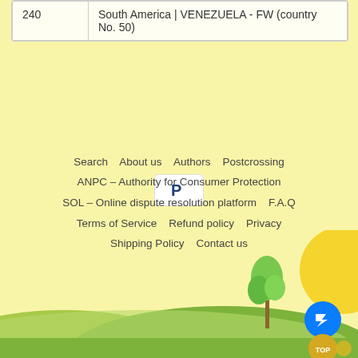|  |  |
| --- | --- |
| 240 | South America | VENEZUELA - FW (country No. 50) |
[Figure (logo): PayPal payment icon - white rectangle with PayPal P logo in dark blue]
Search   About us   Authors   Postcrossing
ANPC – Authority for Consumer Protection
SOL – Online dispute resolution platform   F.A.Q
Terms of Service   Refund policy   Privacy
Shipping Policy   Contact us
[Figure (illustration): Scenic illustration with green hills, a tree, and a yellow sun on the right edge. Blue messenger chat button and gold TOP button overlaid.]